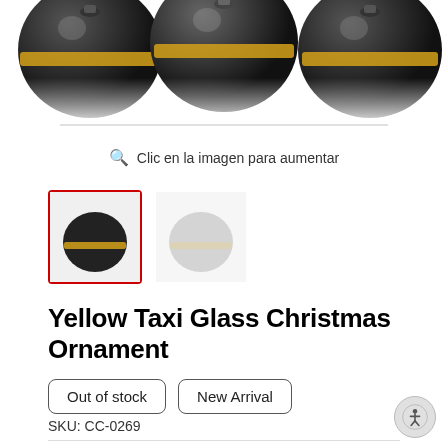[Figure (photo): Partial view of Yellow Taxi Glass Christmas Ornament balls at the top of the page, showing multiple dark ornament spheres with yellow taxi design]
Clic en la imagen para aumentar
[Figure (photo): Two product thumbnail images, first selected with red border, second partially visible]
Yellow Taxi Glass Christmas Ornament
Out of stock
New Arrival
SKU: CC-0269